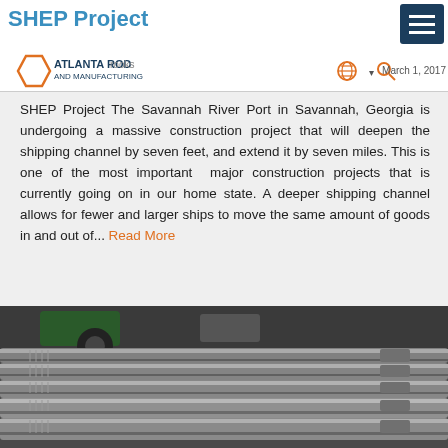SHEP Project
Atlanta Rod and Manufacturing | March 1, 2017
SHEP Project The Savannah River Port in Savannah, Georgia is undergoing a massive construction project that will deepen the shipping channel by seven feet, and extend it by seven miles. This is one of the most important major construction projects that is currently going on in our home state. A deeper shipping channel allows for fewer and larger ships to move the same amount of goods in and out of... Read More
[Figure (photo): Stacked metal rods/bolts in an industrial setting, likely threaded steel rods manufactured by Atlanta Rod and Manufacturing]